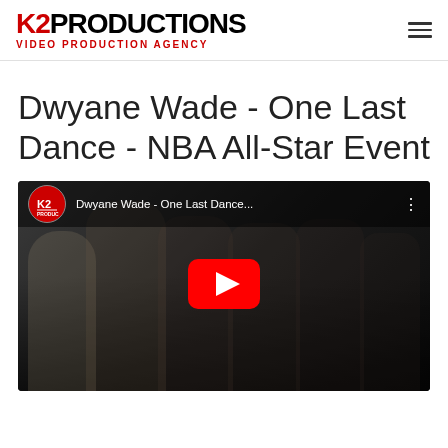K2PRODUCTIONS VIDEO PRODUCTION AGENCY
Dwyane Wade - One Last Dance - NBA All-Star Event
[Figure (screenshot): YouTube video thumbnail showing K2 Productions channel video titled 'Dwyane Wade - One Last Dance...' with a group of people in formal attire and a red YouTube play button overlay.]